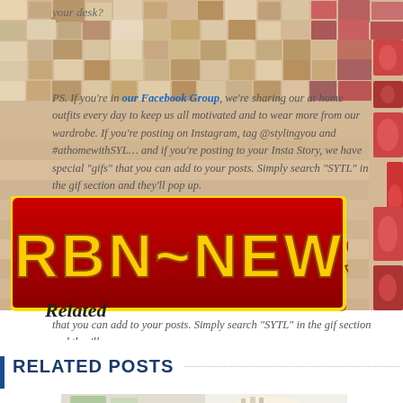your desk?
PS. If you're in our Facebook Group, we're sharing our at home outfits every day to keep us all motivated and to wear more from our wardrobe. If you're posting on Instagram, tag @stylingyou and #athomewithSYL... and if you're posting to your Insta Story, we have special "gifs" that you can add to your posts. Simply search "SYTL" in the gif section and they'll pop up.
[Figure (logo): PRBN NEWS red banner logo with yellow text and border]
Related
RELATED POSTS
[Figure (photo): Smiling blonde woman in white shirt with shelving/wardrobe in background]